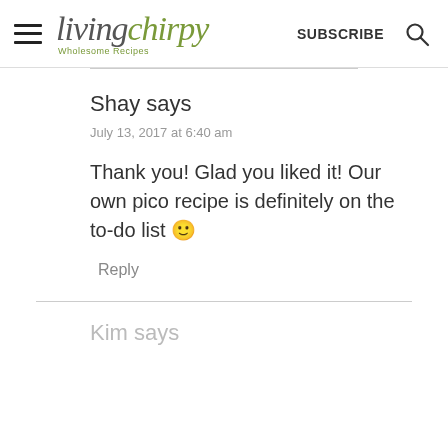living chirpy — Wholesome Recipes — SUBSCRIBE
Shay says
July 13, 2017 at 6:40 am
Thank you! Glad you liked it! Our own pico recipe is definitely on the to-do list 🙂
Reply
Kim says